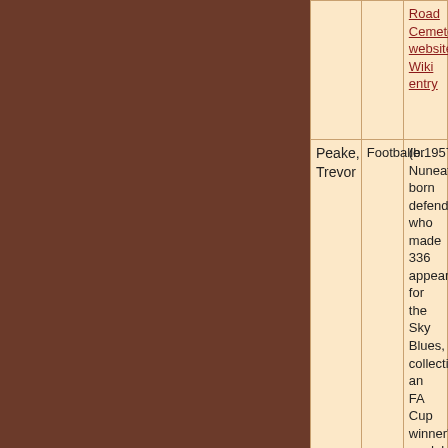| Name | Role | Description |
| --- | --- | --- |
|  |  | Road Cemetery website. Wiki entry |
| Peake, Trevor | Footballer | (b.1957) Nuneaton-born defender who made 336 appearances for the Sky Blues, collecting an FA Cup winner's medal in 1987. Wiki entry |
| Phipps, Simon Wilton, MC | Chaplain | (1921-2001) Former Industrial Chaplain in Coventry. Friend of Princess Margaret. Went on to become Bishop of Lincoln. Wiki entry |